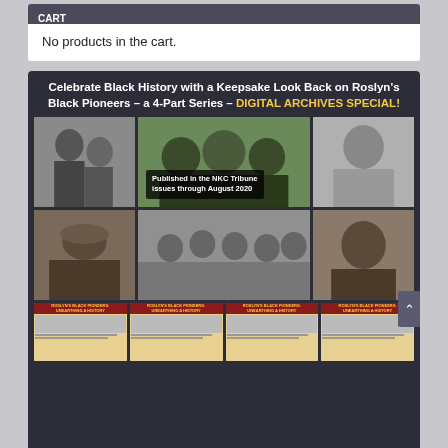CART
No products in the cart.
[Figure (infographic): Advertisement for Roslyn's Black Pioneers 4-Part Series Digital Archives Special, featuring a collage of historical photos of Black community members and newspaper thumbnails.]
Celebrate Black History with a Keepsake Look Back on Roslyn's Black Pioneers – a 4-Part Series – DIGITAL ARCHIVES SPECIAL!
Published in the NKC Tribune issues through August 2020